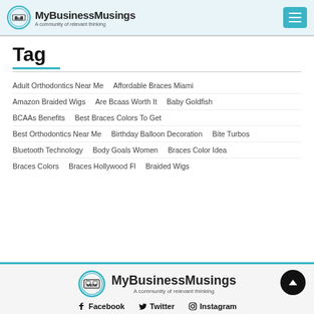MyBusinessMusings — A community of relevant thinking
Tag
Adult Orthodontics Near Me
Affordable Braces Miami
Amazon Braided Wigs
Are Bcaas Worth It
Baby Goldfish
BCAAs Benefits
Best Braces Colors To Get
Best Orthodontics Near Me
Birthday Balloon Decoration
Bite Turbos
Bluetooth Technology
Body Goals Women
Braces Color Idea
Braces Colors
Braces Hollywood Fl
Braided Wigs
MyBusinessMusings — A community of relevant thinking | Facebook | Twitter | Instagram